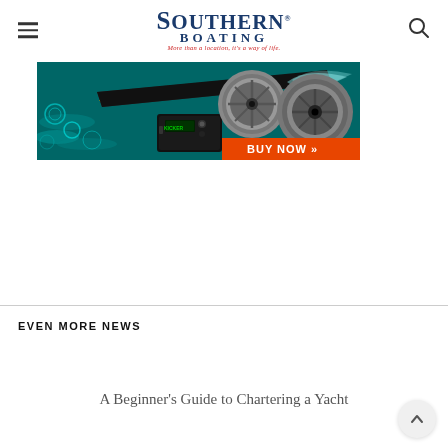Southern Boating — More than a location, it's a way of life.
[Figure (photo): Kicker marine audio advertisement banner showing a speedboat on water with Kicker speakers and a marine radio head unit, with orange 'BUY NOW >>' button]
EVEN MORE NEWS
A Beginner's Guide to Chartering a Yacht